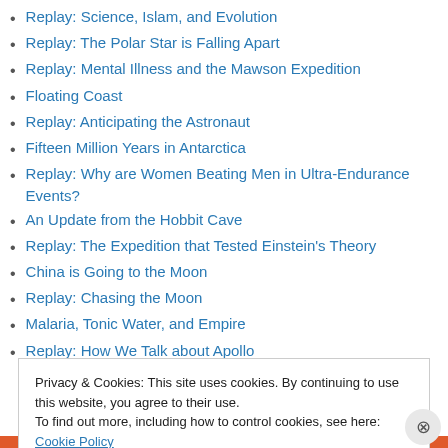Replay: Science, Islam, and Evolution
Replay: The Polar Star is Falling Apart
Replay: Mental Illness and the Mawson Expedition
Floating Coast
Replay: Anticipating the Astronaut
Fifteen Million Years in Antarctica
Replay: Why are Women Beating Men in Ultra-Endurance Events?
An Update from the Hobbit Cave
Replay: The Expedition that Tested Einstein's Theory
China is Going to the Moon
Replay: Chasing the Moon
Malaria, Tonic Water, and Empire
Replay: How We Talk about Apollo
Privacy & Cookies: This site uses cookies. By continuing to use this website, you agree to their use. To find out more, including how to control cookies, see here: Cookie Policy
Close and accept